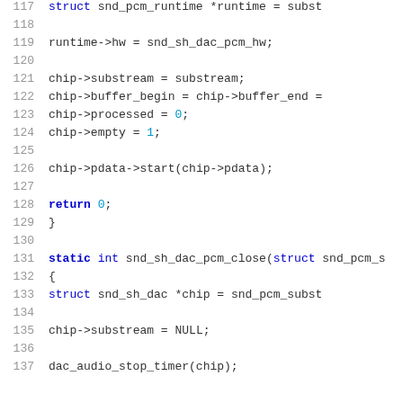Code listing lines 117-137, C source code showing snd_sh_dac_pcm_open and snd_sh_dac_pcm_close functions
117    struct snd_pcm_runtime *runtime = subst
118
119        runtime->hw = snd_sh_dac_pcm_hw;
120
121        chip->substream = substream;
122        chip->buffer_begin = chip->buffer_end =
123        chip->processed = 0;
124        chip->empty = 1;
125
126        chip->pdata->start(chip->pdata);
127
128        return 0;
129    }
130
131    static int snd_sh_dac_pcm_close(struct snd_pcm_s
132    {
133        struct snd_sh_dac *chip = snd_pcm_subst
134
135        chip->substream = NULL;
136
137        dac_audio_stop_timer(chip);